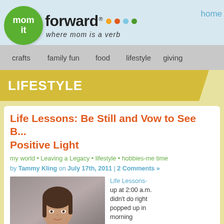mom it forward® where mom is a verb | home
[Figure (logo): Mom It Forward logo: green circle with 'mom it' text, followed by 'forward' with trademark symbol and colored dots (yellow, orange, blue, green), tagline 'where mom is a verb']
home
crafts   family fun   food   lifestyle   giving
LIFESTYLE
Life Lessons: Be Still and Vow to See B... Positive Light
my world • Leaving a Legacy • lifestyle • hobbies-me time
by Tammy Kling on July 17th, 2011 | 2 Comments »
[Figure (photo): Photo of a woman with brown hair looking at the camera]
Life Lessons-  up at 2:00 a.m. didn't do right popped up in morning